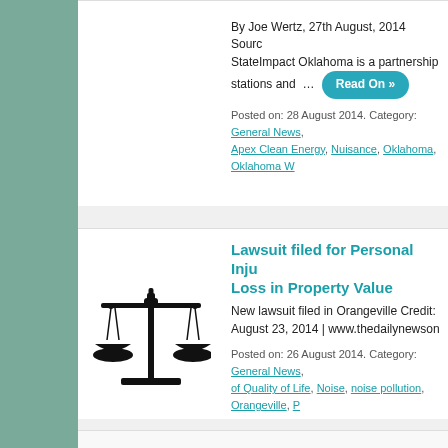By Joe Wertz, 27th August, 2014 Source: StateImpact Oklahoma is a partnership stations and … [Read On »]
Posted on: 28 August 2014. Category: General News, Apex Clean Energy, Nuisance, Oklahoma, Oklahoma W...
[Figure (illustration): Black silhouette of scales of justice (balance scale) icon]
Lawsuit filed for Personal Injury and Loss in Property Value
New lawsuit filed in Orangeville Credit: August 23, 2014 | www.thedailynewson...
Posted on: 26 August 2014. Category: General News, of Quality of Life, Noise, noise pollution, Orangeville, P...